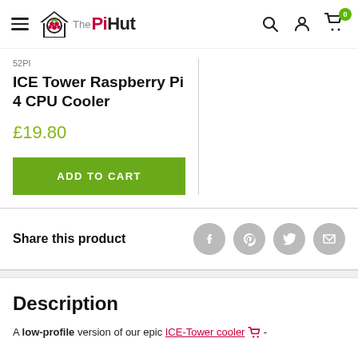The PiHut — navigation header with hamburger menu, logo, search, account, and cart icons
52PI
ICE Tower Raspberry Pi 4 CPU Cooler
£19.80
ADD TO CART
Share this product
Description
A low-profile version of our epic ICE-Tower cooler 🛒 -